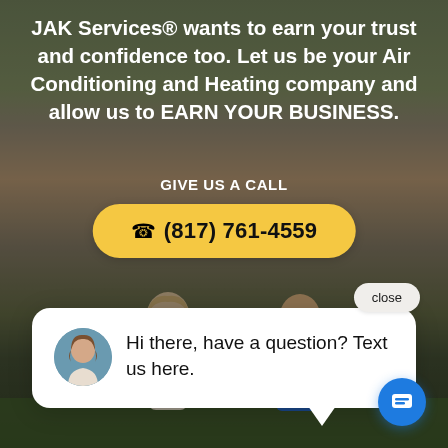[Figure (photo): Background photo of a modern house exterior with brick/wood siding, large windows, and green lawn. Two people visible at bottom: a woman in light top and a man in blue JAK Services polo shirt.]
JAK Services® wants to earn your trust and confidence too. Let us be your Air Conditioning and Heating company and allow us to EARN YOUR BUSINESS.
GIVE US A CALL
☎ (817) 761-4559
close
Hi there, have a question? Text us here.